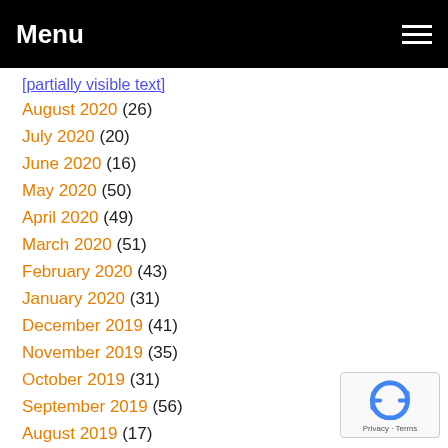Menu
August 2020 (26)
July 2020 (20)
June 2020 (16)
May 2020 (50)
April 2020 (49)
March 2020 (51)
February 2020 (43)
January 2020 (31)
December 2019 (41)
November 2019 (35)
October 2019 (31)
September 2019 (56)
August 2019 (17)
July 2019 (15)
[Figure (logo): Google reCAPTCHA badge with Privacy and Terms links]